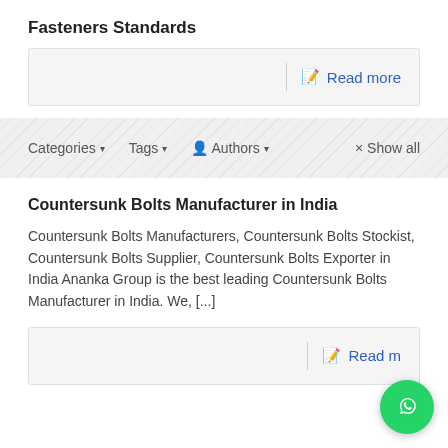Fasteners Standards
Read more
Categories ▾   Tags ▾   👤 Authors ▾   × Show all
Countersunk Bolts Manufacturer in India
Countersunk Bolts Manufacturers, Countersunk Bolts Stockist, Countersunk Bolts Supplier, Countersunk Bolts Exporter in India Ananka Group is the best leading Countersunk Bolts Manufacturer in India. We, [...]
Read more